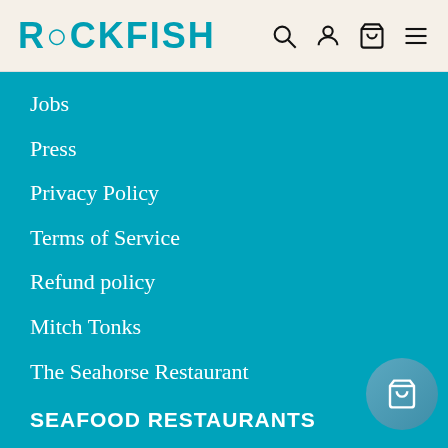ROCKFISH
Jobs
Press
Privacy Policy
Terms of Service
Refund policy
Mitch Tonks
The Seahorse Restaurant
SEAFOOD RESTAURANTS
Brixham